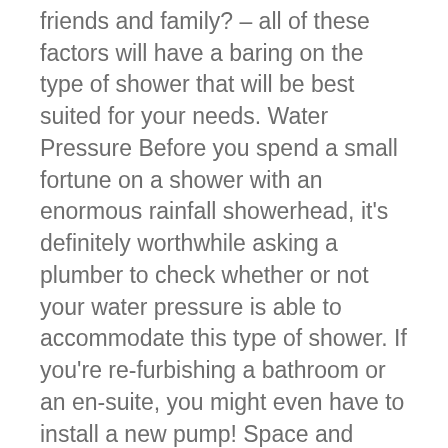friends and family? – all of these factors will have a baring on the type of shower that will be best suited for your needs. Water Pressure Before you spend a small fortune on a shower with an enormous rainfall showerhead, it's definitely worthwhile asking a plumber to check whether or not your water pressure is able to accommodate this type of shower. If you're re-furbishing a bathroom or an en-suite, you might even have to install a new pump! Space and layout Before you pick out your bathroom's fixtures and fittings, you should think carefully about the layout of your bathroom. For example, do you have the available space to accommodate a bathtub and shower without your bathroom becoming overcrowded? If you haven't, you might want to think about…